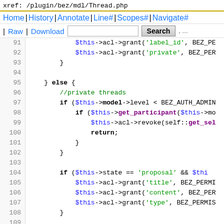xref: /plugin/bez/mdl/Thread.php
Home | History | Annotate | Line# | Scopes# | Navigate# | Raw | Download  [Search]
[Figure (screenshot): PHP source code viewer showing lines 91-115 of /plugin/bez/mdl/Thread.php with syntax highlighting. Lines show ACL grant/revoke calls, if/else blocks, and various string literals in green, bold keywords in black, and function names in purple.]